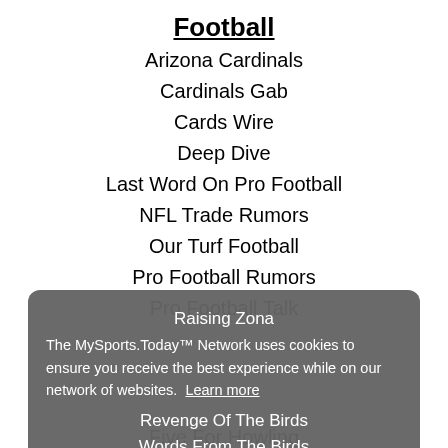Football
Arizona Cardinals
Cardinals Gab
Cards Wire
Deep Dive
Last Word On Pro Football
NFL Trade Rumors
Our Turf Football
Pro Football Rumors
Pro Football Talk
Raising Zona
Revenge Of The Birds
Words From The Birds
Hockey
Elite Prospects
Five For Howling
Howlin Hockey
The MySports.Today™ Network uses cookies to ensure you receive the best experience while on our network of websites. Learn more
Got it!